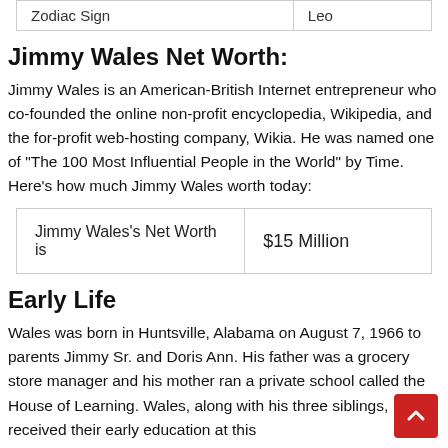| Zodiac Sign | Leo |
| --- | --- |
Jimmy Wales Net Worth:
Jimmy Wales is an American-British Internet entrepreneur who co-founded the online non-profit encyclopedia, Wikipedia, and the for-profit web-hosting company, Wikia. He was named one of "The 100 Most Influential People in the World" by Time. Here's how much Jimmy Wales worth today:
| Jimmy Wales's Net Worth is | $15 Million |
| --- | --- |
Early Life
Wales was born in Huntsville, Alabama on August 7, 1966 to parents Jimmy Sr. and Doris Ann. His father was a grocery store manager and his mother ran a private school called the House of Learning. Wales, along with his three siblings, received their early education at this